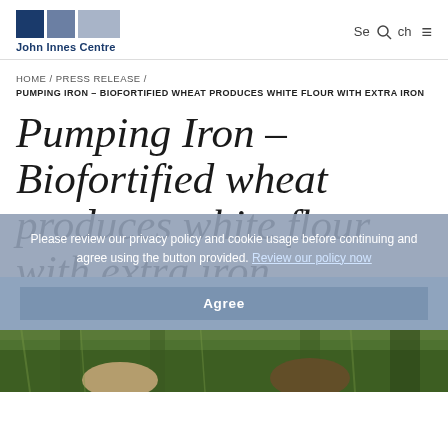John Innes Centre | Search
HOME / PRESS RELEASE / PUMPING IRON – BIOFORTIFIED WHEAT PRODUCES WHITE FLOUR WITH EXTRA IRON
Pumping Iron – Biofortified wheat produces white flour with extra iron
7th July 2017
Please review our privacy policy and cookie usage before continuing and agree using the button provided. Review our policy now
[Figure (photo): Photograph of researchers in a wheat field, partially visible at the bottom of the page]